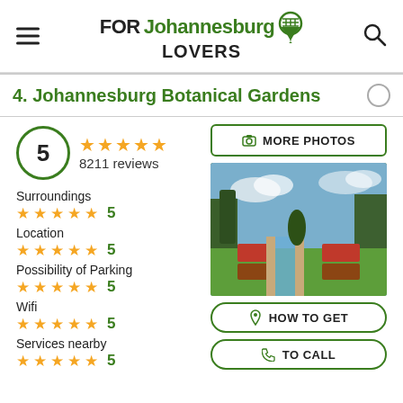FOR Johannesburg LOVERS
4. Johannesburg Botanical Gardens
5
8211 reviews
Surroundings 5
Location 5
Possibility of Parking 5
Wifi 5
Services nearby 5
[Figure (photo): Johannesburg Botanical Gardens view with formal garden canal and flower beds]
MORE PHOTOS
HOW TO GET
TO CALL